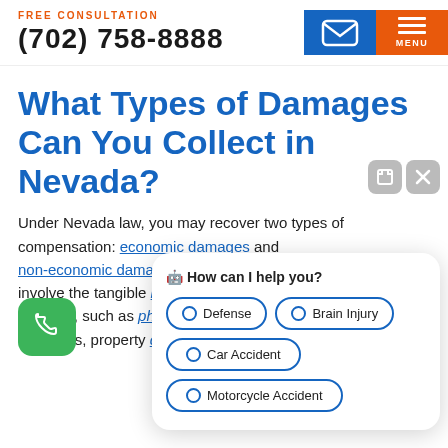FREE CONSULTATION
(702) 758-8888
What Types of Damages Can You Collect in Nevada?
Under Nevada law, you may recover two types of compensation: economic damages and non-economic damages. Economic damages involve the tangible loss of money due to an accident, such as physical and medical expenses, property damage, and disability
[Figure (screenshot): Chat popup with options: Defense, Brain Injury, Car Accident, Motorcycle Accident]
[Figure (illustration): Green phone FAB button with phone icon]